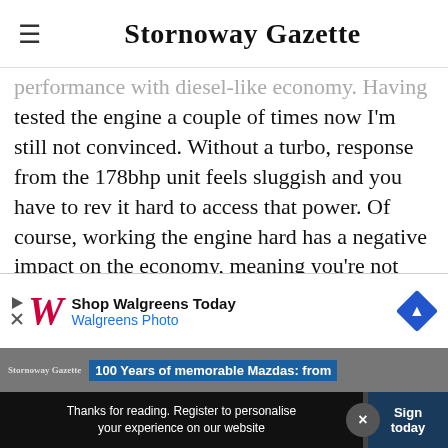Stornoway Gazette
performance with diesel-like economy. Having tested the engine a couple of times now I'm still not convinced. Without a turbo, response from the 178bhp unit feels sluggish and you have to rev it hard to access that power. Of course, working the engine hard has a negative impact on the economy, meaning you're not getting the best of both worlds.
[Figure (other): Walgreens advertisement banner with logo, 'Shop Walgreens Today / Walgreens Photo' text and blue diamond road sign icon]
100 Years of memorable Mazdas: from
Thanks for reading. Register to personalise your experience on our website
Sign today